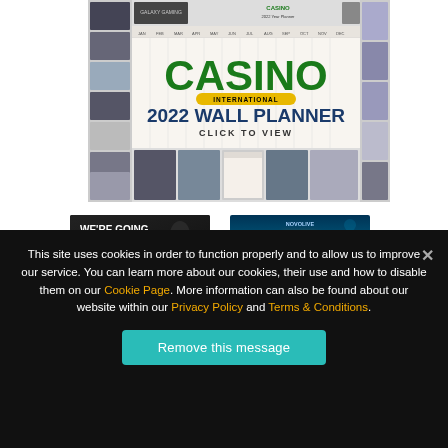[Figure (screenshot): Casino International 2022 Wall Planner promotional banner with green CASINO INTERNATIONAL logo, blue '2022 WALL PLANNER' text, 'CLICK TO VIEW' subtitle, calendar grid thumbnails in background, and side column images.]
[Figure (screenshot): Ad banner: 'WE'RE GOING BIG!' with BIG3 logo on dark background, person silhouette]
[Figure (screenshot): Ad banner: Novolive Cash Connection Edition 3 on blue underwater themed background]
This site uses cookies in order to function properly and to allow us to improve our service. You can learn more about our cookies, their use and how to disable them on our Cookie Page. More information can also be found about our website within our Privacy Policy and Terms & Conditions.
Remove this message